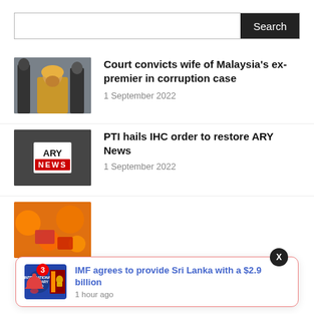[Figure (screenshot): Search bar with text input field and dark Search button]
[Figure (photo): Woman in yellow outfit covering face, surrounded by people in suits]
Court convicts wife of Malaysia's ex-premier in corruption case
1 September 2022
[Figure (photo): ARY News logo/sign on dark background]
PTI hails IHC order to restore ARY News
1 September 2022
[Figure (photo): Market produce with oranges and packaged items]
[Figure (screenshot): Notification popup: IMF agrees to provide Sri Lanka with a $2.9 billion, 1 hour ago, with IMF and Sri Lanka flag thumbnail]
IMF agrees to provide Sri Lanka with a $2.9 billion
1 hour ago